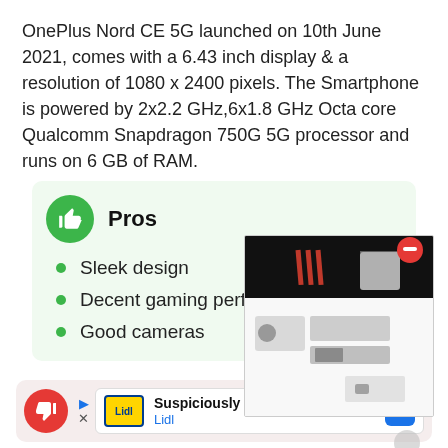OnePlus Nord CE 5G launched on 10th June 2021, comes with a 6.43 inch display & a resolution of 1080 x 2400 pixels. The Smartphone is powered by 2x2.2 GHz,6x1.8 GHz Octa core Qualcomm Snapdragon 750G 5G processor and runs on 6 GB of RAM.
Pros
Sleek design
Decent gaming performance
Good cameras
[Figure (photo): Advertisement image showing electronics/appliances on dark background with a red minus icon overlay]
[Figure (infographic): Lidl advertisement banner: Suspiciously Low Prices, Lidl logo, navigation arrow icon]